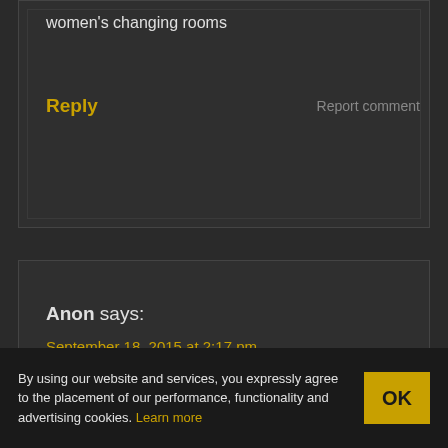women's changing rooms
Reply
Report comment
Anon says:
September 18, 2015 at 2:17 pm
Title should be: Dear public, this is why you should never accept backdooring of anything.
Reply
Report comment
By using our website and services, you expressly agree to the placement of our performance, functionality and advertising cookies. Learn more
OK